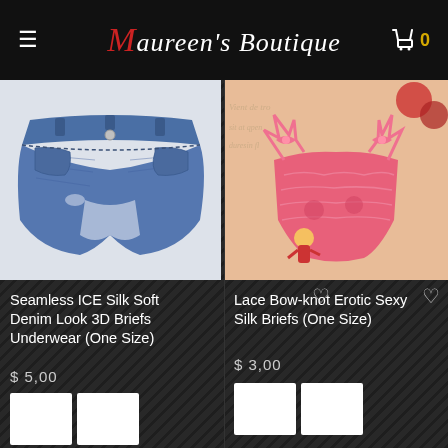Maureen's Boutique
[Figure (photo): Seamless ICE Silk Soft Denim Look 3D Briefs Underwear product photo on white background]
Seamless ICE Silk Soft Denim Look 3D Briefs Underwear (One Size)
$ 5,00
[Figure (photo): Lace Bow-knot Erotic Sexy Silk Briefs product photo in pink/coral color on decorative background]
Lace Bow-knot Erotic Sexy Silk Briefs (One Size)
$ 3,00